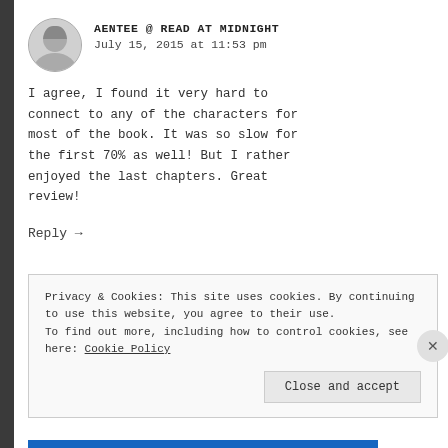AENTEE @ READ AT MIDNIGHT
July 15, 2015 at 11:53 pm
I agree, I found it very hard to connect to any of the characters for most of the book. It was so slow for the first 70% as well! But I rather enjoyed the last chapters. Great review!
Reply →
Privacy & Cookies: This site uses cookies. By continuing to use this website, you agree to their use.
To find out more, including how to control cookies, see here: Cookie Policy
Close and accept